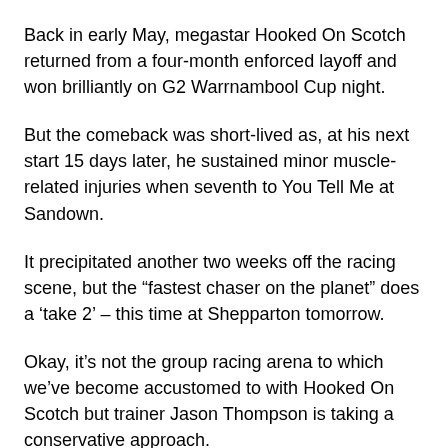Back in early May, megastar Hooked On Scotch returned from a four-month enforced layoff and won brilliantly on G2 Warrnambool Cup night.
But the comeback was short-lived as, at his next start 15 days later, he sustained minor muscle-related injuries when seventh to You Tell Me at Sandown.
It precipitated another two weeks off the racing scene, but the “fastest chaser on the planet” does a ‘take 2’ – this time at Shepparton tomorrow.
Okay, it’s not the group racing arena to which we’ve become accustomed to with Hooked On Scotch but trainer Jason Thompson is taking a conservative approach.
“He missed the start and got bottled up at Sandown, but he wouldn’t be in if he wasn’t spot on,” Thompson said.
Hooked On Scotch, who has drawn Box 8 in Race 4 at 4.24pm